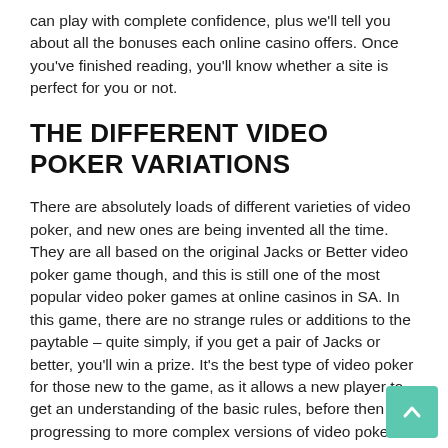can play with complete confidence, plus we'll tell you about all the bonuses each online casino offers. Once you've finished reading, you'll know whether a site is perfect for you or not.
THE DIFFERENT VIDEO POKER VARIATIONS
There are absolutely loads of different varieties of video poker, and new ones are being invented all the time. They are all based on the original Jacks or Better video poker game though, and this is still one of the most popular video poker games at online casinos in SA. In this game, there are no strange rules or additions to the paytable – quite simply, if you get a pair of Jacks or better, you'll win a prize. It's the best type of video poker for those new to the game, as it allows a new player to get an understanding of the basic rules, before then progressing to more complex versions of video poker.